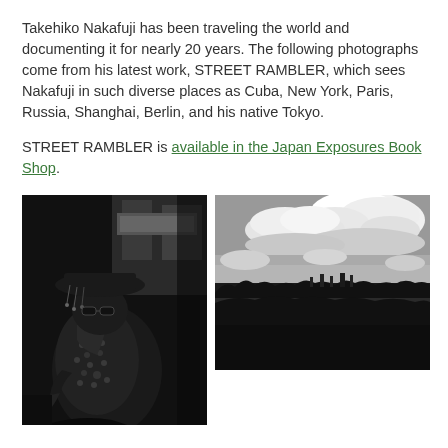Takehiko Nakafuji has been traveling the world and documenting it for nearly 20 years. The following photographs come from his latest work, STREET RAMBLER, which sees Nakafuji in such diverse places as Cuba, New York, Paris, Russia, Shanghai, Berlin, and his native Tokyo.
STREET RAMBLER is available in the Japan Exposures Book Shop.
[Figure (photo): Black and white street photograph of a person wearing an ornate decorated hat and patterned jacket, shot from below against an urban background.]
[Figure (photo): Black and white landscape photograph showing a dramatic cloudy sky over a city skyline in the distance, with dense urban sprawl below.]